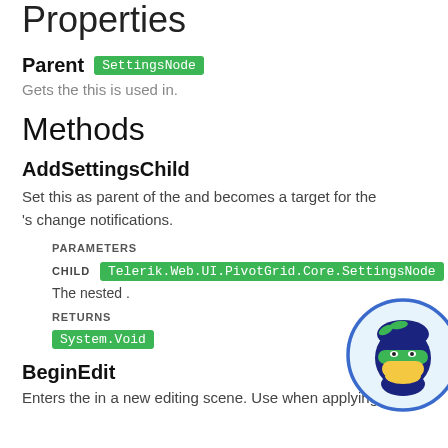Properties
Parent
Gets the this is used in.
Methods
AddSettingsChild
Set this as parent of the and becomes a target for the 's change notifications.
PARAMETERS
CHILD   Telerik.Web.UI.PivotGrid.Core.SettingsNode
The nested .
RETURNS
System.Void
BeginEdit
Enters the in a new editing scene. Use when applying